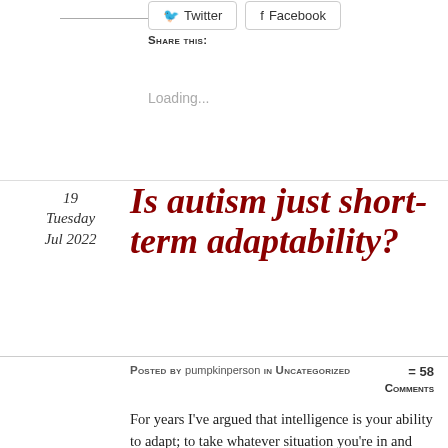[Figure (other): Share This section with Twitter and Facebook buttons]
Loading...
19
Tuesday
Jul 2022
Is autism just short-term adaptability?
Posted by pumpkinperson in Uncategorized = 58 Comments
For years I've argued that intelligence is your ability to adapt; to take whatever situation you're in and turn it around to your advantage.
The reason this definition resonates with me is that it's